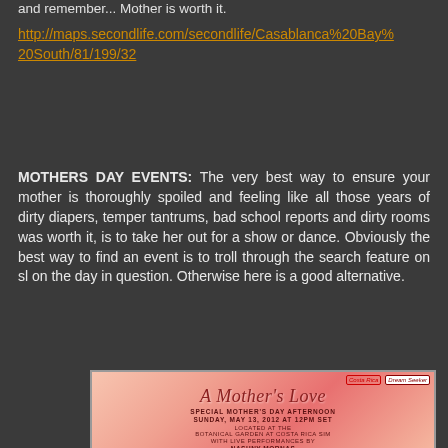and remember... Mother is worth it.
http://maps.secondlife.com/secondlife/Casablanca%20Bay%20South/81/199/32
MOTHERS DAY EVENTS: The very best way to ensure your mother is thoroughly spoiled and feeling like all those years of dirty diapers, temper tantrums, bad school reports and dirty rooms was worth it, is to take her out for a show or dance. Obviously the best way to find an event is to troll through the search feature on sl on the day in question. Otherwise here is a good alternative.
[Figure (illustration): A Mother's Love event flyer with pink floral background. Text reads: A Mother's Love, SPECIAL MOTHER'S DAY AFTERNOON, SUNDAY, MAY 13, 2012 AT 12PM SET, LOCATED AT THE BOTANICAL GARDEN AT COSTA RICA SIM, WITH LIVE PERFORMANCES BY NASHNY MORNAS & MAXX SABRETOOTH]